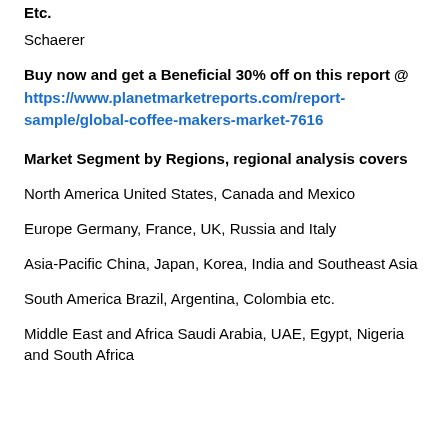Etc.
Schaerer
Buy now and get a Beneficial 30% off on this report @ https://www.planetmarketreports.com/report-sample/global-coffee-makers-market-7616
Market Segment by Regions, regional analysis covers
North America United States, Canada and Mexico
Europe Germany, France, UK, Russia and Italy
Asia-Pacific China, Japan, Korea, India and Southeast Asia
South America Brazil, Argentina, Colombia etc.
Middle East and Africa Saudi Arabia, UAE, Egypt, Nigeria and South Africa